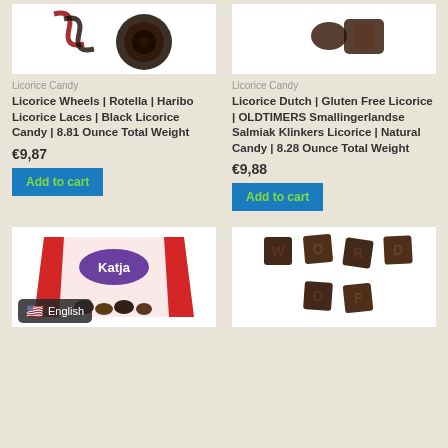[Figure (photo): Licorice wheels candy product image on white background]
[Figure (photo): Licorice Dutch candy product image on white background]
Licorice Candy
Licorice Wheels | Rotella | Haribo Licorice Laces | Black Licorice Candy | 8.81 Ounce Total Weight
€9,87
Add to cart
Licorice Candy
Licorice Dutch | Gluten Free Licorice | OLDTIMERS Smallingerlandse Salmiak Klinkers Licorice | Natural Candy | 8.28 Ounce Total Weight
€9,88
Add to cart
[Figure (photo): Katja brand candy bag with mixed licorice candies on white background]
[Figure (photo): Square licorice candy pieces arranged on white background]